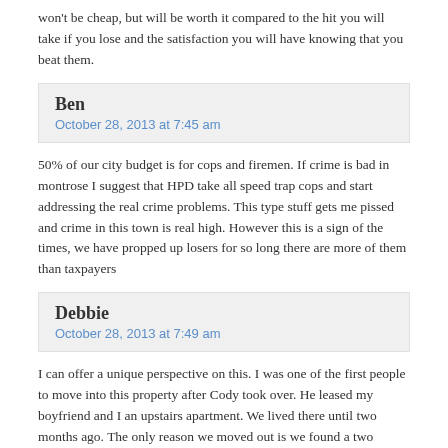won't be cheap, but will be worth it compared to the hit you will take if you lose and the satisfaction you will have knowing that you beat them.
Ben
October 28, 2013 at 7:45 am
50% of our city budget is for cops and firemen. If crime is bad in montrose I suggest that HPD take all speed trap cops and start addressing the real crime problems. This type stuff gets me pissed and crime in this town is real high. However this is a sign of the times, we have propped up losers for so long there are more of them than taxpayers
Debbie
October 28, 2013 at 7:49 am
I can offer a unique perspective on this. I was one of the first people to move into this property after Cody took over. He leased my boyfriend and I an upstairs apartment. We lived there until two months ago. The only reason we moved out is we found a two bedroom apartment and wanted more space. It was actually another one of Cody's properties. They let us transfer our lease and our deposit with no problem.
I got to see the cleanup at the property from the first day. I've got to see the decrease in crime and traffic here. The cleanup of the property in general.
I wouldn't say the property is perfect, but we felt safe here and it is a lot better.
I have a best friend who lives in an apartment two blocks away that I won't even go over too. I wonder what the city is doing about that property?
Cody: you should know who this is. Please contact me if I can help testify for